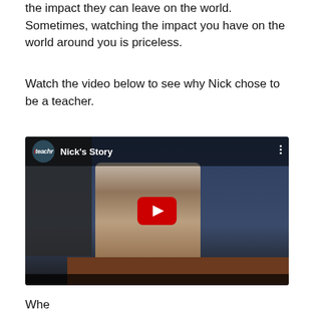the impact they can leave on the world. Sometimes, watching the impact you have on the world around you is priceless.
Watch the video below to see why Nick chose to be a teacher.
[Figure (screenshot): YouTube video embed showing a man in a plaid shirt sitting in a classroom setting with bookshelves and desk. Video is titled 'Nick's Story' with the iteachr logo. A red YouTube play button is displayed in the center.]
Whe...